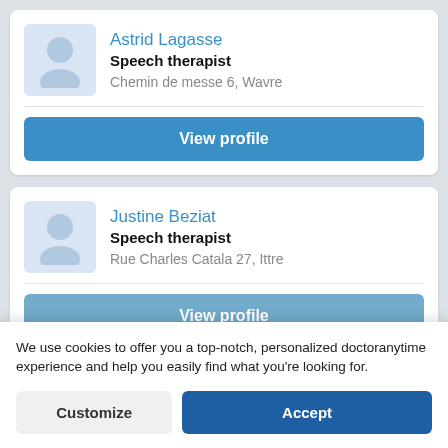Astrid Lagasse
Speech therapist
Chemin de messe 6, Wavre
View profile
Justine Beziat
Speech therapist
Rue Charles Catala 27, Ittre
View profile
We use cookies to offer you a top-notch, personalized doctoranytime experience and help you easily find what you're looking for.
Customize
Accept
Rue du Travail 9, Saint Nicolas...